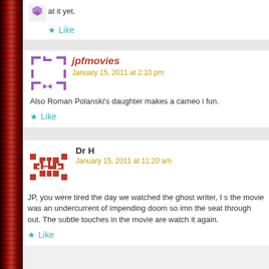at it yet.
Like
jpfmovies
January 15, 2011 at 2:10 pm
Also Roman Polanski's daughter makes a cameo i fun.
Like
Dr H
January 15, 2011 at 11:20 am
JP, you were tired the day we watched the ghost writer, I s the movie was an undercurrent of impending doom so imn the seat through out. The subtle touches in the movie are watch it again.
Like